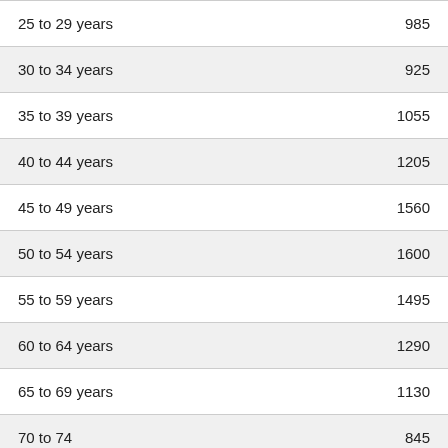| Age Group | Value |
| --- | --- |
| 25 to 29 years | 985 |
| 30 to 34 years | 925 |
| 35 to 39 years | 1055 |
| 40 to 44 years | 1205 |
| 45 to 49 years | 1560 |
| 50 to 54 years | 1600 |
| 55 to 59 years | 1495 |
| 60 to 64 years | 1290 |
| 65 to 69 years | 1130 |
| 70 to 74 | 845 |